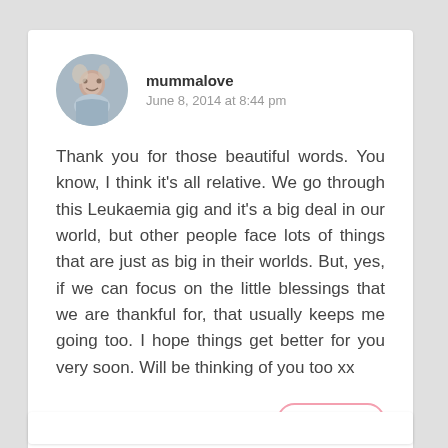[Figure (photo): Circular avatar photo of a woman smiling, used as profile picture for user mummalove]
mummalove
June 8, 2014 at 8:44 pm
Thank you for those beautiful words. You know, I think it's all relative. We go through this Leukaemia gig and it's a big deal in our world, but other people face lots of things that are just as big in their worlds. But, yes, if we can focus on the little blessings that we are thankful for, that usually keeps me going too. I hope things get better for you very soon. Will be thinking of you too xx